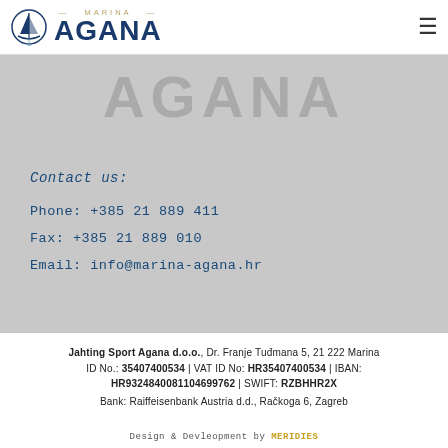[Figure (logo): Marina Agana logo with sailboat icon and text MARINA AGANA]
[Figure (logo): AGANA large watermark text on grey background]
Contact us:
Phone: +385 21 889 411
Fax: +385 21 889 010
Email: info@marina-agana.hr
Jahting Sport Agana d.o.o., Dr. Franje Tuđmana 5, 21 222 Marina ID No.: 35407400534 | VAT ID No: HR35407400534 | IBAN: HR9324840081104699762 | SWIFT: RZBHHR2X Bank: Raiffeisenbank Austria d.d., Račkoga 6, Zagreb
Design & Devleopment by MERIDIES